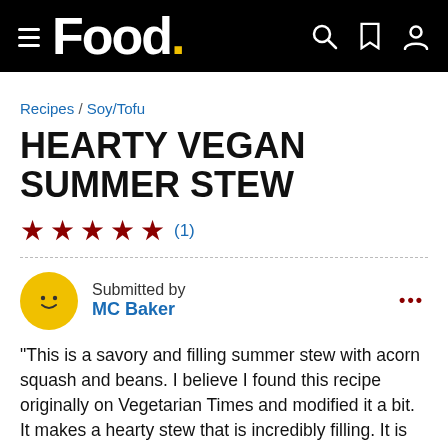Food.
Recipes / Soy/Tofu
HEARTY VEGAN SUMMER STEW
★★★★★ (1)
Submitted by MC Baker
"This is a savory and filling summer stew with acorn squash and beans. I believe I found this recipe originally on Vegetarian Times and modified it a bit. It makes a hearty stew that is incredibly filling. It is